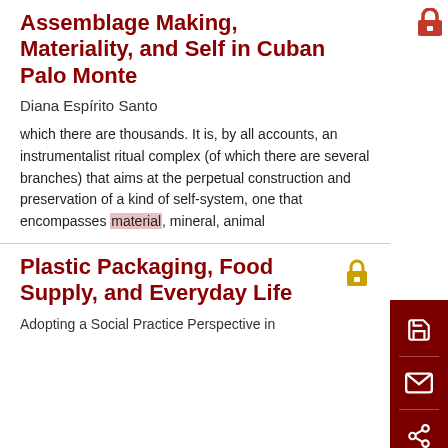Assemblage Making, Materiality, and Self in Cuban Palo Monte
Diana Espírito Santo
which there are thousands. It is, by all accounts, an instrumentalist ritual complex (of which there are several branches) that aims at the perpetual construction and preservation of a kind of self-system, one that encompasses material, mineral, animal
Plastic Packaging, Food Supply, and Everyday Life
Adopting a Social Practice Perspective in